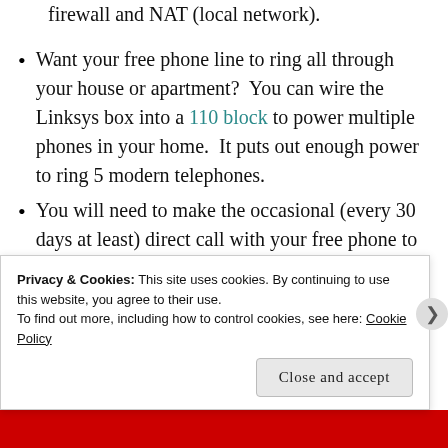firewall and NAT (local network).
Want your free phone line to ring all through your house or apartment?  You can wire the Linksys box into a 110 block to power multiple phones in your home.  It puts out enough power to ring 5 modern telephones.
You will need to make the occasional (every 30 days at least) direct call with your free phone to maintain your CallWithUs account.  Calls are very cheap, though – just make sure your Google Voice number show up as the line's Caller ID (Log into
Privacy & Cookies: This site uses cookies. By continuing to use this website, you agree to their use.
To find out more, including how to control cookies, see here: Cookie Policy
Close and accept